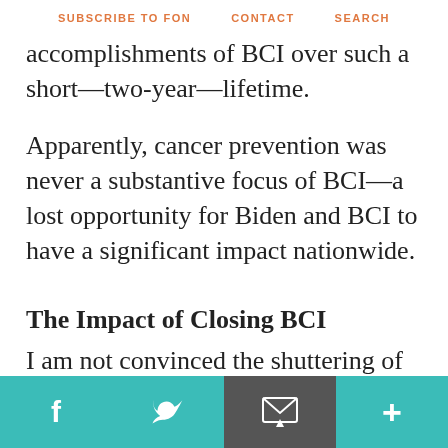SUBSCRIBE TO FON   CONTACT   SEARCH
accomplishments of BCI over such a short—two-year—lifetime.
Apparently, cancer prevention was never a substantive focus of BCI—a lost opportunity for Biden and BCI to have a significant impact nationwide.
The Impact of Closing BCI
I am not convinced the shuttering of BCI will ultimately represent a substantive loss to cancer drug
f   twitter   email   +